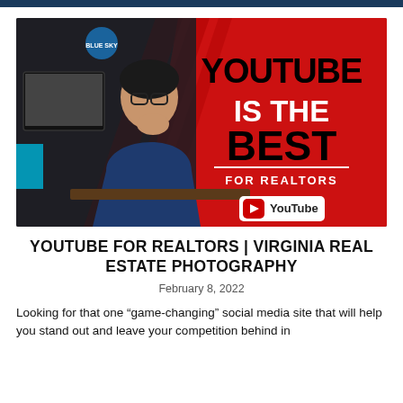[Figure (illustration): YouTube thumbnail showing a man in a blue shirt sitting thoughtfully at a desk with a Blue Skye logo visible, and large bold text on a red background reading YOUTUBE IS THE BEST FOR REALTORS with a YouTube logo at the bottom right.]
YOUTUBE FOR REALTORS | VIRGINIA REAL ESTATE PHOTOGRAPHY
February 8, 2022
Looking for that one “game-changing” social media site that will help you stand out and leave your competition behind in